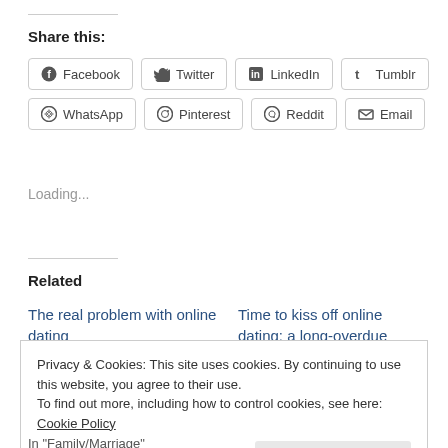Share this:
Facebook  Twitter  LinkedIn  Tumblr  WhatsApp  Pinterest  Reddit  Email
Loading...
Related
The real problem with online dating
Time to kiss off online dating: a long-overdue
Privacy & Cookies: This site uses cookies. By continuing to use this website, you agree to their use.
To find out more, including how to control cookies, see here: Cookie Policy
Close and accept
In "Family/Marriage"